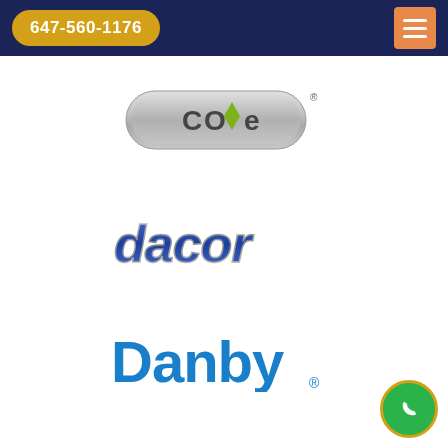647-560-1176
[Figure (logo): Cove brand logo — silver pill-shaped badge with 'COVE' text and green diamond accent]
[Figure (logo): Dacor brand logo — blue and silver italic bold text 'dacor']
[Figure (logo): Danby brand logo — bold blue text 'Danby' with registered trademark]
[Figure (logo): Partially visible logo at bottom of page]
[Figure (illustration): Green phone icon circle overlay in bottom-right corner]